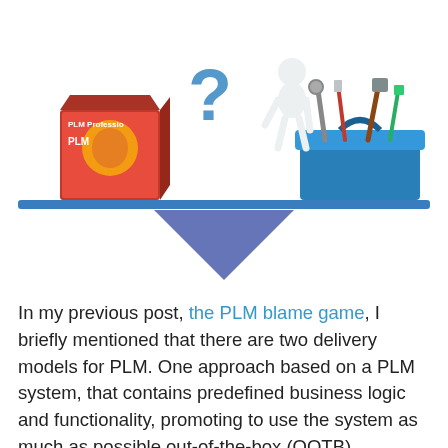[Figure (illustration): A balance/scale illustration showing a PLM Professional software box on the left side and a blue toolbox with tools on the right side, balanced on a blue triangle fulcrum. A blue question mark is in the center top.]
In my previous post, the PLM blame game, I briefly mentioned that there are two delivery models for PLM. One approach based on a PLM system, that contains predefined business logic and functionality, promoting to use the system as much as possible out-of-the-box (OOTB) somehow driving toward a certain rigidness or the other approach where the PLM capabilities need to be developed on top of a customizable infrastructure, providing more flexibility. I believe there has been a debate about this topic over more than 15 years without a